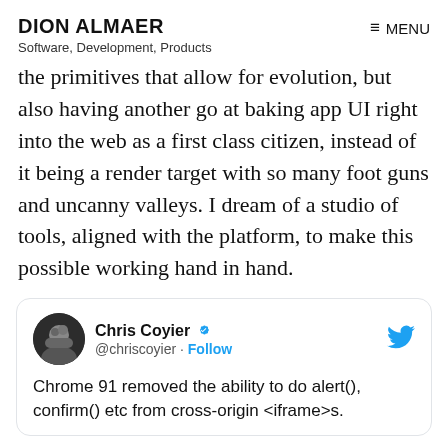DION ALMAER
Software, Development, Products
the primitives that allow for evolution, but also having another go at baking app UI right into the web as a first class citizen, instead of it being a render target with so many foot guns and uncanny valleys. I dream of a studio of tools, aligned with the platform, to make this possible working hand in hand.
[Figure (screenshot): Embedded tweet card from Chris Coyier (@chriscoyier) with verified badge and Follow button. Tweet text: 'Chrome 91 removed the ability to do alert(), confirm() etc from cross-origin <iframe>s.']